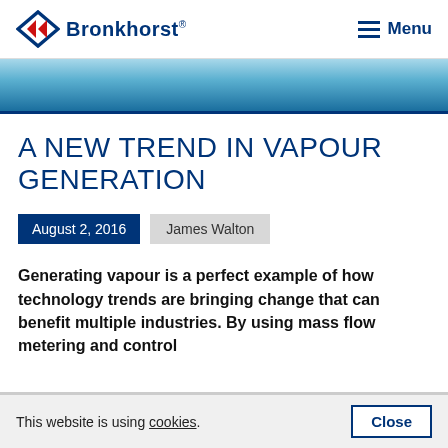Bronkhorst® — Menu
[Figure (other): Blue gradient banner / decorative header stripe]
A NEW TREND IN VAPOUR GENERATION
August 2, 2016
James Walton
Generating vapour is a perfect example of how technology trends are bringing change that can benefit multiple industries. By using mass flow metering and control
This website is using cookies. Close